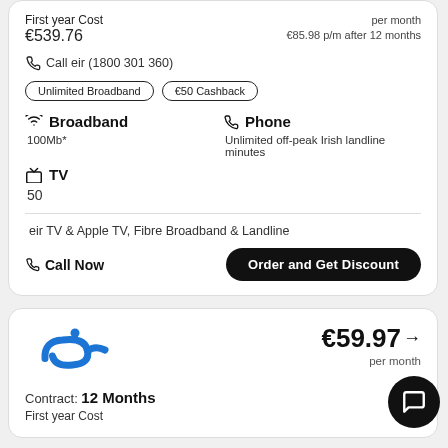First year Cost
€539.76
per month
€85.98 p/m after 12 months
Call eir (1800 301 360)
Unlimited Broadband
€50 Cashback
Broadband
Phone
100Mb*
Unlimited off-peak Irish landline minutes
TV
50
eir TV & Apple TV, Fibre Broadband & Landline
Call Now
Order and Get Discount
[Figure (logo): eir logo in blue]
Contract: 12 Months
First year Cost
€59.97
per month